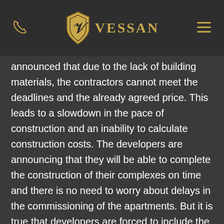VESSAN
announced that due to the lack of building materials, the contractors cannot meet the deadlines and the already agreed price. This leads to a slowdown in the pace of construction and an inability to calculate construction costs. The developers are announcing that they will be able to complete the construction of their complexes on time and there is no need to worry about delays in the commissioning of the apartments. But it is true that developers are forced to include the risk of rising prices of building materials in their planning and take it into account when setting future prices of apartments in projects under construction. In their opinion, this trend will continue for at least one the year and will be reflected in higher almost